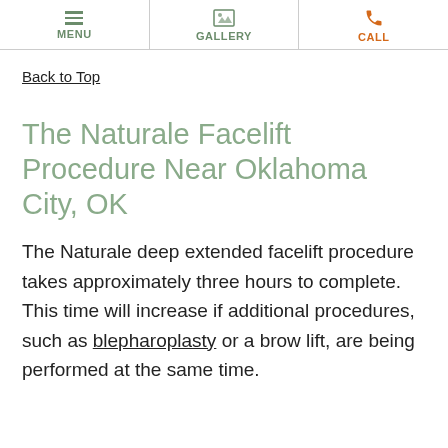MENU | GALLERY | CALL
Back to Top
The Naturale Facelift Procedure Near Oklahoma City, OK
The Naturale deep extended facelift procedure takes approximately three hours to complete. This time will increase if additional procedures, such as blepharoplasty or a brow lift, are being performed at the same time.
Dr. Panchal will place one facelift incision in the